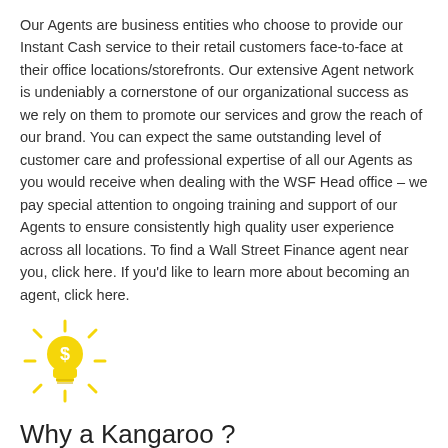Our Agents are business entities who choose to provide our Instant Cash service to their retail customers face-to-face at their office locations/storefronts. Our extensive Agent network is undeniably a cornerstone of our organizational success as we rely on them to promote our services and grow the reach of our brand. You can expect the same outstanding level of customer care and professional expertise of all our Agents as you would receive when dealing with the WSF Head office – we pay special attention to ongoing training and support of our Agents to ensure consistently high quality user experience across all locations. To find a Wall Street Finance agent near you, click here. If you'd like to learn more about becoming an agent, click here.
[Figure (illustration): Yellow light bulb icon with a dollar sign ($) inside it and radiating lines around it, suggesting a financial idea or tip.]
Why a Kangaroo ?
The choice of the kangaroo you see in the logo is no arbitrary choice. These powerful creatures travel at speeds of up to 65 kilometres per hour with its baby tucked safely in its pouch.Wall